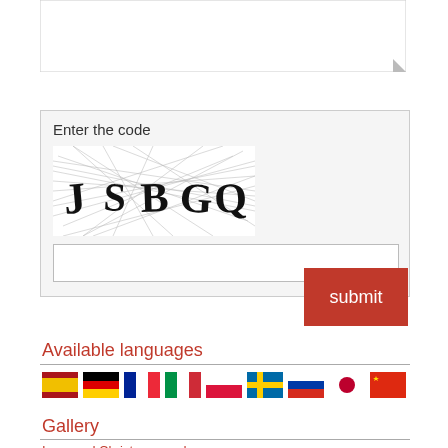[Figure (screenshot): Textarea input box (empty)]
Enter the code
[Figure (photo): CAPTCHA image showing letters J S B G Q with overlapping lines]
[Figure (screenshot): Code input text field (empty)]
submit
Available languages
[Figure (illustration): Row of 9 country flag icons: Spain, Germany, France, Italy, Poland, Sweden, Russia, Japan, China]
Gallery
Iggusund Christmas card